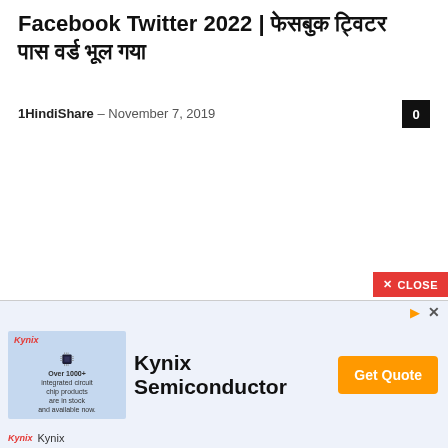Facebook Twitter 2022 | फेसबुक ट्विटर पास वर्ड भूल गया
1HindiShare – November 7, 2019
[Figure (screenshot): Comment count box showing '0' in black background]
[Figure (screenshot): Advertisement banner for Kynix Semiconductor with chip image, 'Over 1000+ integrated circuit chip products are in stock and available now.', 'Kynix Semiconductor' brand name, orange 'Get Quote' button, and red CLOSE button at top right.]